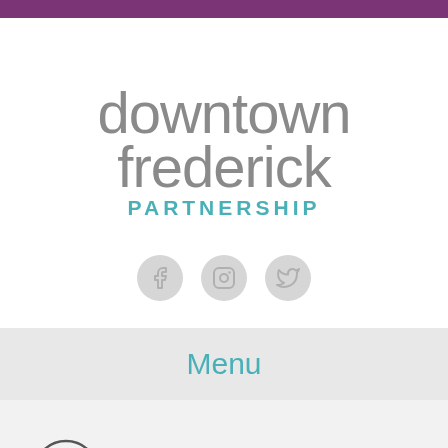[Figure (logo): Downtown Frederick Partnership logo with grey stylized text 'downtown frederick' and teal text 'PARTNERSHIP']
[Figure (infographic): Three social media icons: Facebook, Instagram, Twitter in grey circles]
Menu
Memorial Park